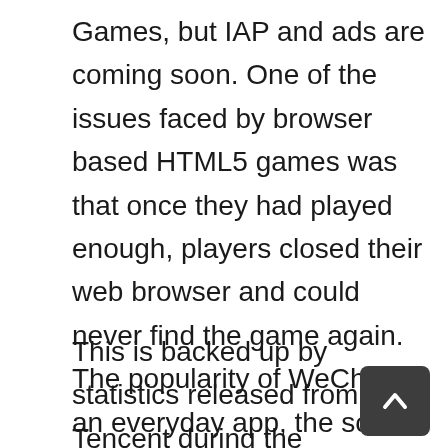Games, but IAP and ads are coming soon. One of the issues faced by browser based HTML5 games was that once they had played enough, players closed their web browser and could never find the game again. The popularity of WeChat as an everyday app, the social features integrated into Mini Games and the notifications should help with retaining and monetizing players.
This is backed up by statistics released from Tencent during the developer's conference. 'Jump Jump' retained 65% of its total players on day 1 with 1-week retention of 52%. This